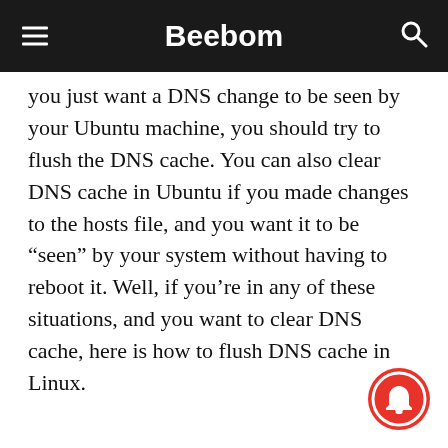Beebom
you just want a DNS change to be seen by your Ubuntu machine, you should try to flush the DNS cache. You can also clear DNS cache in Ubuntu if you made changes to the hosts file, and you want it to be “seen” by your system without having to reboot it. Well, if you’re in any of these situations, and you want to clear DNS cache, here is how to flush DNS cache in Linux.